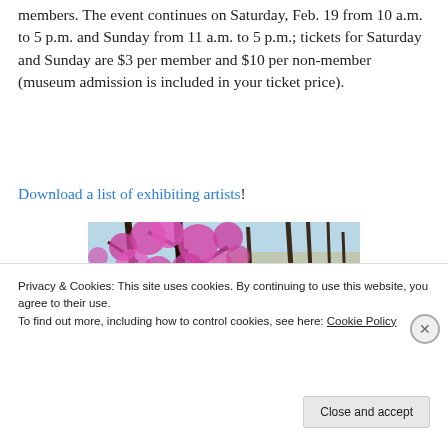members. The event continues on Saturday, Feb. 19 from 10 a.m. to 5 p.m. and Sunday from 11 a.m. to 5 p.m.; tickets for Saturday and Sunday are $3 per member and $10 per non-member (museum admission is included in your ticket price).
Download a list of exhibiting artists!
[Figure (photo): Painting of pink/magenta blooming redbud tree branches amid bare winter trees with tan grasses in background]
Privacy & Cookies: This site uses cookies. By continuing to use this website, you agree to their use. To find out more, including how to control cookies, see here: Cookie Policy
Close and accept